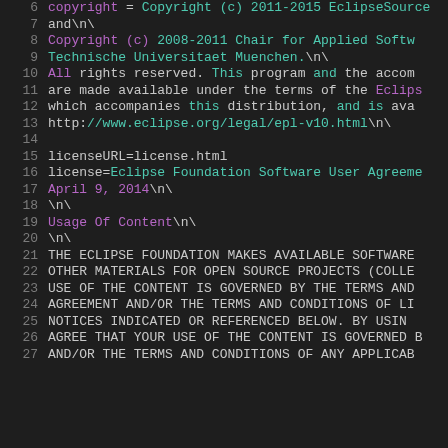Lines 6-27 of a source code file showing copyright/license information with syntax highlighting. Line numbers in gray on left, code with purple and teal colored tokens on dark background.